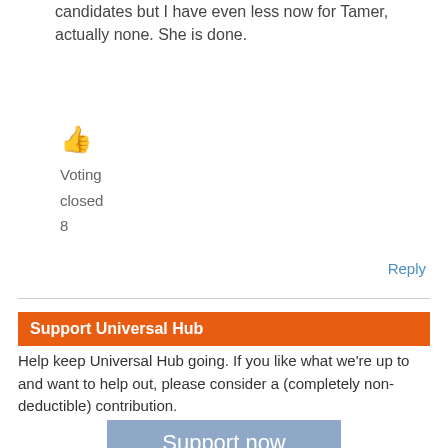candidates but I have even less now for Tamer, actually none. She is done.
[Figure (illustration): Thumbs up emoji icon in orange/yellow color]
Voting
closed
8
Reply
Support Universal Hub
Help keep Universal Hub going. If you like what we're up to and want to help out, please consider a (completely non-deductible) contribution.
[Figure (other): Support now button — a blue-gray button with white text]
In other Boston news
Jamaica Plain progressives ponder what to do when both